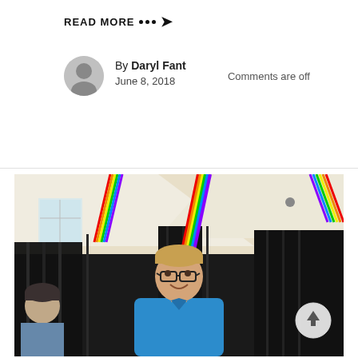READ MORE ••• →
By Daryl Fant
June 8, 2018
Comments are off
[Figure (photo): A man in a blue shirt standing in front of black curtains in a large indoor venue decorated with rainbow streamers hanging from the ceiling. Another person is partially visible on the left side. A scroll-to-top button overlays the bottom right of the image.]